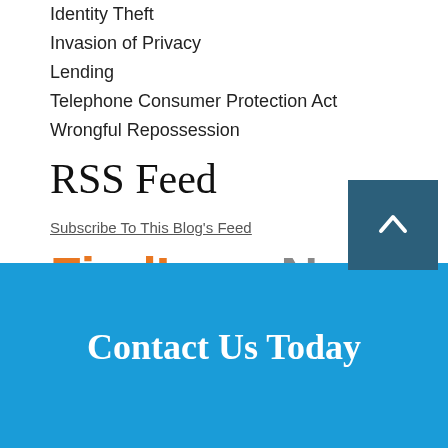Identity Theft
Invasion of Privacy
Lending
Telephone Consumer Protection Act
Wrongful Repossession
RSS Feed
Subscribe To This Blog's Feed
[Figure (logo): FindLaw Network logo with orange FindLaw text and gray Network text]
Contact Us Today